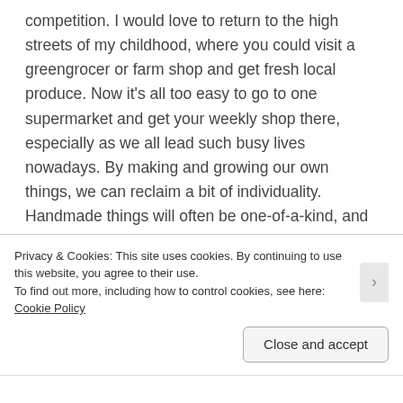competition. I would love to return to the high streets of my childhood, where you could visit a greengrocer or farm shop and get fresh local produce. Now it's all too easy to go to one supermarket and get your weekly shop there, especially as we all lead such busy lives nowadays. By making and growing our own things, we can reclaim a bit of individuality. Handmade things will often be one-of-a-kind, and are so much more personal than mass-produced items in shops.

It can be hard to choose fairly traded and ecologically friendly things sometimes, especially if you're on a budget. However, crafting can be a way to avoid adding
Privacy & Cookies: This site uses cookies. By continuing to use this website, you agree to their use.
To find out more, including how to control cookies, see here: Cookie Policy
Close and accept